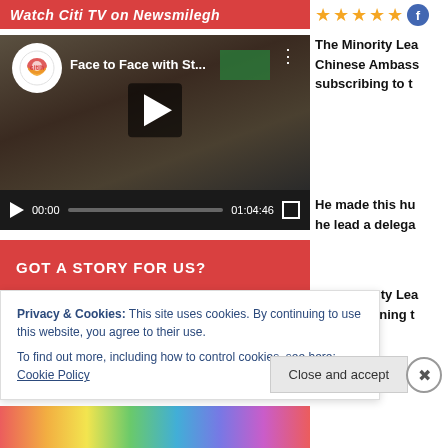Watch Citi TV on Newsmilegh
[Figure (screenshot): Embedded YouTube video player showing 'Face to Face with St...' with Citi TV logo, person in frame, play button, progress bar showing 00:00 / 01:04:46]
GOT A STORY FOR US?
Contact us via email and our happy
The Minority Lea Chinese Ambass subscribing to t
He made this hu he lead a delega
The Minority Lea and deepening t
Hon. Iddrisu stat e s
Privacy & Cookies: This site uses cookies. By continuing to use this website, you agree to their use.
To find out more, including how to control cookies, see here: Cookie Policy